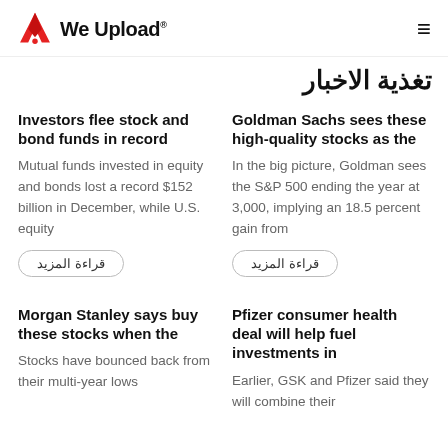We Upload
تغذية الاخبار
Investors flee stock and bond funds in record
Mutual funds invested in equity and bonds lost a record $152 billion in December, while U.S. equity
Goldman Sachs sees these high-quality stocks as the
In the big picture, Goldman sees the S&P 500 ending the year at 3,000, implying an 18.5 percent gain from
قراءة المزيد
قراءة المزيد
Morgan Stanley says buy these stocks when the
Stocks have bounced back from their multi-year lows
Pfizer consumer health deal will help fuel investments in
Earlier, GSK and Pfizer said they will combine their